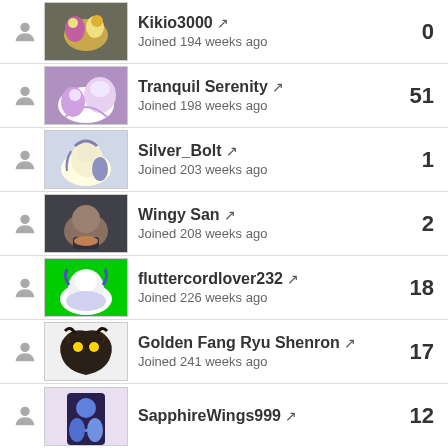Kikio3000 — Joined 194 weeks ago — 0
Tranquil Serenity — Joined 198 weeks ago — 51
Silver_Bolt — Joined 203 weeks ago — 1
Wingy San — Joined 208 weeks ago — 2
fluttercordlover232 — Joined 226 weeks ago — 18
Golden Fang Ryu Shenron — Joined 241 weeks ago — 17
SapphireWings999 — 12